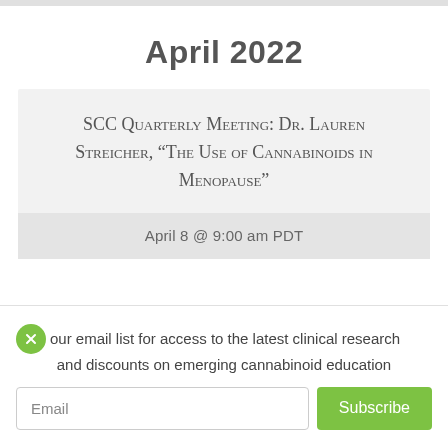April 2022
SCC Quarterly Meeting: Dr. Lauren Streicher, “The Use of Cannabinoids in Menopause”
April 8 @ 9:00 am PDT
Join our email list for access to the latest clinical research and discounts on emerging cannabinoid education
Email
Subscribe